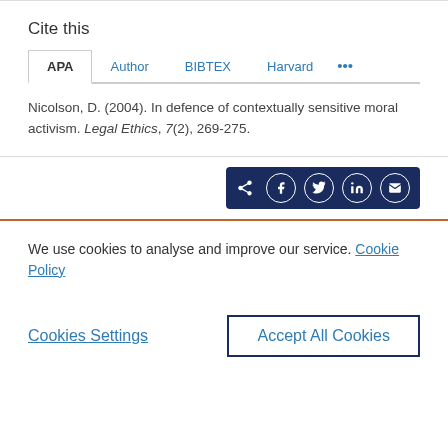Cite this
APA | Author | BIBTEX | Harvard | ...
Nicolson, D. (2004). In defence of contextually sensitive moral activism. Legal Ethics, 7(2), 269-275.
[Figure (other): Social share buttons: share, Facebook, Twitter, LinkedIn, email icons on dark navy background]
We use cookies to analyse and improve our service. Cookie Policy
Cookies Settings | Accept All Cookies